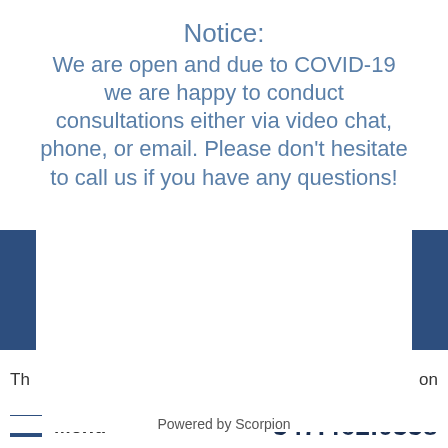Notice:
We are open and due to COVID-19 we are happy to conduct consultations either via video chat, phone, or email. Please don't hesitate to call us if you have any questions!
Th   on
Menu   347.462.0338
not intended to create, and receipt or viewing does not constitute, an attorney-client relationship.
MICHAEL MULLEN
New York Criminal Defense Lawyer
© All Rights Reserved.
Powered by Scorpion